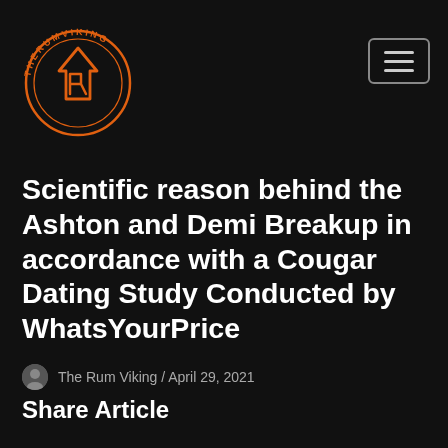[Figure (logo): The Rum Viking logo: circular orange ring with runic text around the border and a stylized orange arrow/house symbol in the center, on dark background]
Scientific reason behind the Ashton and Demi Breakup in accordance with a Cougar Dating Study Conducted by WhatsYourPrice
The Rum Viking / April 29, 2021
Share Article